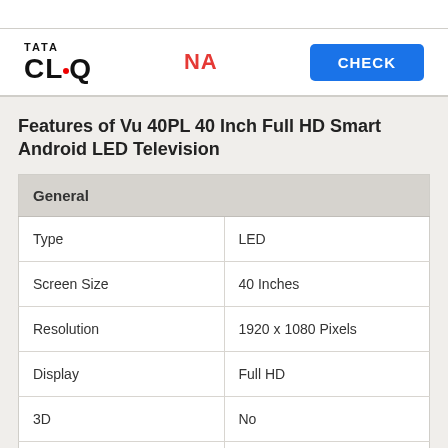[Figure (logo): Tata CLiQ logo with red dot on the letter i]
NA
CHECK
Features of Vu 40PL 40 Inch Full HD Smart Android LED Television
| General |  |
| --- | --- |
| Type | LED |
| Screen Size | 40 Inches |
| Resolution | 1920 x 1080 Pixels |
| Display | Full HD |
| 3D | No |
| Smart TV | Yes |